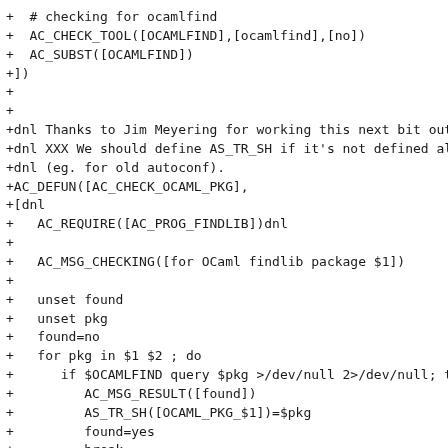+  # checking for ocamlfind
+  AC_CHECK_TOOL([OCAMLFIND],[ocamlfind],[no])
+  AC_SUBST([OCAMLFIND])
+])
+
+
+dnl Thanks to Jim Meyering for working this next bit out for
+dnl XXX We should define AS_TR_SH if it's not defined already
+dnl (eg. for old autoconf).
+AC_DEFUN([AC_CHECK_OCAML_PKG],
+[dnl
+   AC_REQUIRE([AC_PROG_FINDLIB])dnl
+
+   AC_MSG_CHECKING([for OCaml findlib package $1])
+
+   unset found
+   unset pkg
+   found=no
+   for pkg in $1 $2 ; do
+      if $OCAMLFIND query $pkg >/dev/null 2>/dev/null; then
+         AC_MSG_RESULT([found])
+         AS_TR_SH([OCAML_PKG_$1])=$pkg
+         found=yes
+         break
+      fi